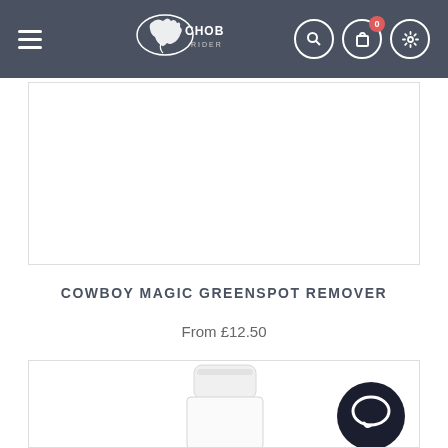Chobham Rider navigation bar with logo, search, cart (0), and settings icons
[Figure (photo): White product image area (top portion of product, mostly blank white background)]
COWBOY MAGIC GREENSPOT REMOVER
From £12.50
[Figure (photo): White bottle with cap – Cowboy Magic Greenspot Remover product photo, partially visible from top]